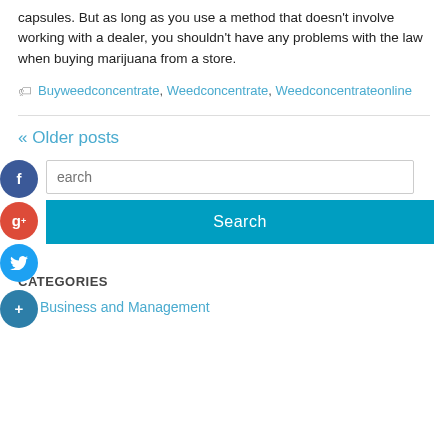capsules. But as long as you use a method that doesn't involve working with a dealer, you shouldn't have any problems with the law when buying marijuana from a store.
Buyweedconcentrate, Weedconcentrate, Weedconcentrateonline
« Older posts
[Figure (other): Search bar with Facebook, Google+, Twitter, and plus social icon buttons on the left. A teal Search button below.]
CATEGORIES
Business and Management